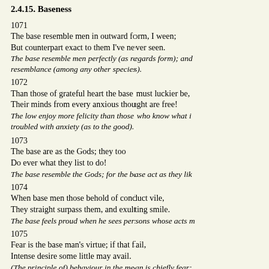2.4.15. Baseness
1071
The base resemble men in outward form, I ween;
But counterpart exact to them I've never seen.
The base resemble men perfectly (as regards form); and resemblance (among any other species).
1072
Than those of grateful heart the base must luckier be,
Their minds from every anxious thought are free!
The low enjoy more felicity than those who know what i... troubled with anxiety (as to the good).
1073
The base are as the Gods; they too
Do ever what they list to do!
The base resemble the Gods; for the base act as they lik...
1074
When base men those behold of conduct vile,
They straight surpass them, and exulting smile.
The base feels proud when he sees persons whose acts m...
1075
Fear is the base man's virtue; if that fail,
Intense desire some little may avail.
(The principle of) behaviour in the mean is chiefly fear;